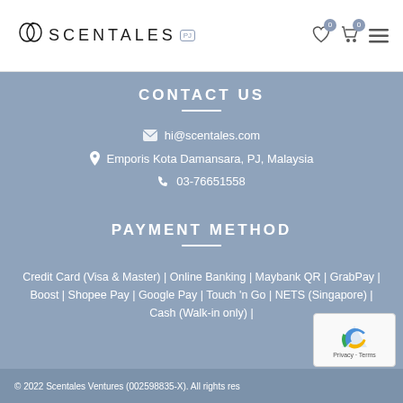SCENTALES
CONTACT US
hi@scentales.com
Emporis Kota Damansara, PJ, Malaysia
03-76651558
PAYMENT METHOD
Credit Card (Visa & Master) | Online Banking | Maybank QR | GrabPay | Boost | Shopee Pay | Google Pay | Touch 'n Go | NETS (Singapore) | Cash (Walk-in only) |
© 2022 Scentales Ventures (002598835-X). All rights reserved.